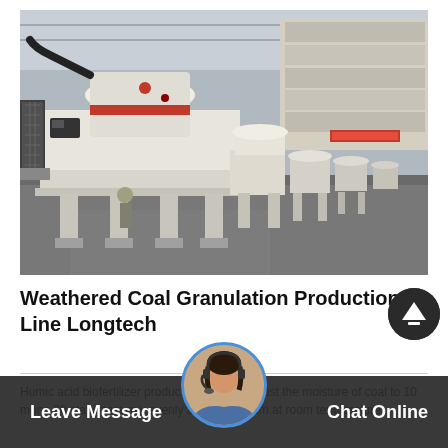[Figure (photo): Industrial manufacturing facility showing a line of large white coal granulation machines (crushers/granulators) on a factory floor. The machines are cream/white colored with red accents, arranged in a row receding into the background of a large warehouse with steel frame ceiling.]
Weathered Coal Granulation Production Line Longtech
Humic acid biofertilizer production method adjust the moisture of coal to 10 mono 20 stabilizers mix evenly and place them at room temperature